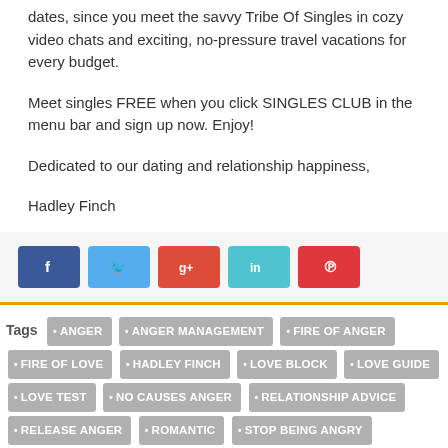dates, since you meet the savvy Tribe Of Singles in cozy video chats and exciting, no-pressure travel vacations for every budget.
Meet singles FREE when you click SINGLES CLUB in the menu bar and sign up now. Enjoy!
Dedicated to our dating and relationship happiness,
Hadley Finch
[Figure (infographic): Social sharing buttons: Facebook (blue), Twitter (light blue), Google+ (red), LinkedIn (teal), Pinterest (red)]
Tags: ANGER, ANGER MANAGEMENT, FIRE OF ANGER, FIRE OF LOVE, HADLEY FINCH, LOVE BLOCK, LOVE GUIDE, LOVE TEST, NO CAUSES ANGER, RELATIONSHIP ADVICE, RELEASE ANGER, ROMANTIC, STOP BEING ANGRY
ABOUT HADLEY FINCH